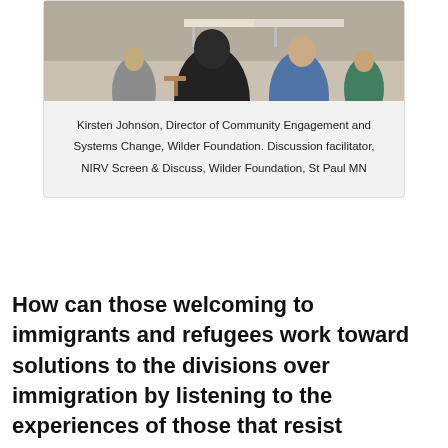[Figure (photo): Photo of people sitting at tables in a meeting or discussion setting, viewed from behind. A person in a black jacket is prominent in the foreground, with others at tables in the background.]
Kirsten Johnson, Director of Community Engagement and Systems Change, Wilder Foundation. Discussion facilitator, NIRV Screen & Discuss, Wilder Foundation, St Paul MN
How can those welcoming to immigrants and refugees work toward solutions to the divisions over immigration by listening to the experiences of those that resist immigrants and refugees?  We may be sympathetic to the economic, social and political challenges facing new immigrants and refugees but have we